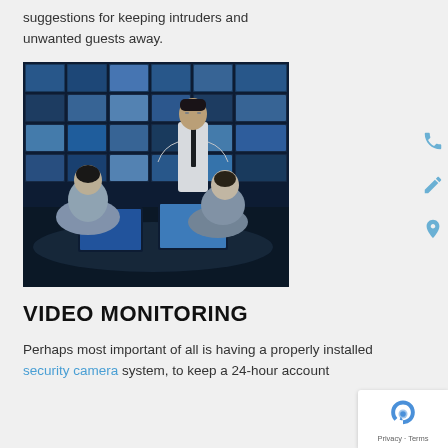suggestions for keeping intruders and unwanted guests away.
[Figure (photo): Security monitoring control room with multiple screens showing surveillance footage. Three people are visible: one standing person in a white shirt and tie facing two seated colleagues who have their backs to the camera.]
VIDEO MONITORING
Perhaps most important of all is having a properly installed security camera system, to keep a 24-hour account